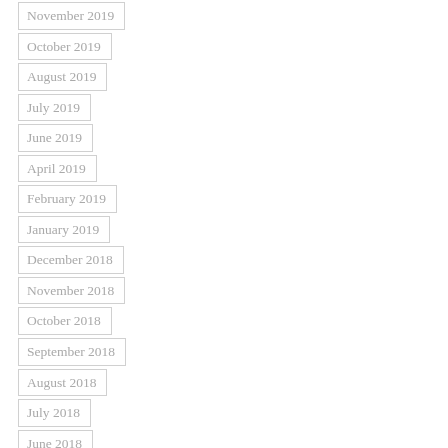November 2019
October 2019
August 2019
July 2019
June 2019
April 2019
February 2019
January 2019
December 2018
November 2018
October 2018
September 2018
August 2018
July 2018
June 2018